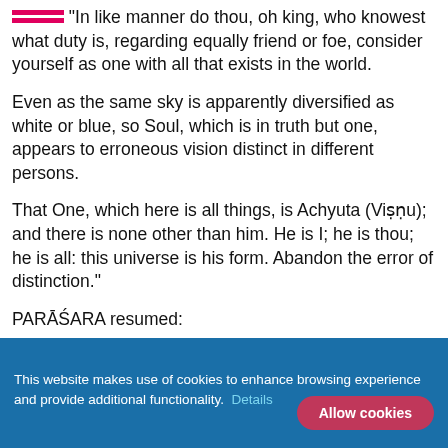"In like manner do thou, oh king, who knowest what duty is, regarding equally friend or foe, consider yourself as one with all that exists in the world.
Even as the same sky is apparently diversified as white or blue, so Soul, which is in truth but one, appears to erroneous vision distinct in different persons.
That One, which here is all things, is Achyuta (Viṣṇu); and there is none other than him. He is I; he is thou; he is all: this universe is his form. Abandon the error of distinction."
PARĀŚARA resumed:
The king, being thus instructed, opened his eyes to
This website makes use of cookies to enhance browsing experience and provide additional functionality. Details  Allow cookies